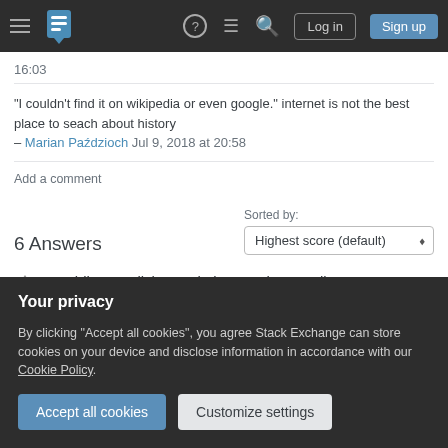Stack Exchange navigation bar with Log in and Sign up buttons
16:03
"I couldn't find it on wikipedia or even google." internet is not the best place to seach about history – Marian Paździoch Jul 9, 2018 at 20:58
Add a comment
6 Answers
Sorted by: Highest score (default)
Providing English translations and expanding upon
Your privacy
By clicking "Accept all cookies", you agree Stack Exchange can store cookies on your device and disclose information in accordance with our Cookie Policy.
Accept all cookies   Customize settings